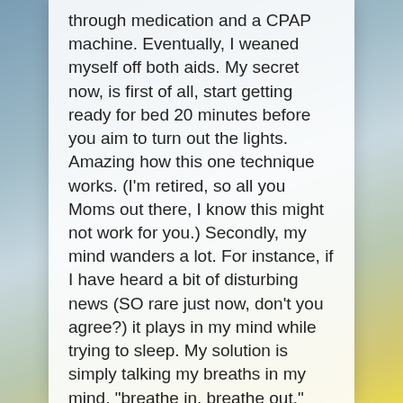through medication and a CPAP machine. Eventually, I weaned myself off both aids. My secret now, is first of all, start getting ready for bed 20 minutes before you aim to turn out the lights. Amazing how this one technique works. (I'm retired, so all you Moms out there, I know this might not work for you.) Secondly, my mind wanders a lot. For instance, if I have heard a bit of disturbing news (SO rare just now, don't you agree?) it plays in my mind while trying to sleep. My solution is simply talking my breaths in my mind. "breathe in, breathe out," continuing it, over top of the other thoughts that try to fight their way back into the upper level of my thinking. Eventually my brain gets the message and I fall asleep. Not 100% effective but about